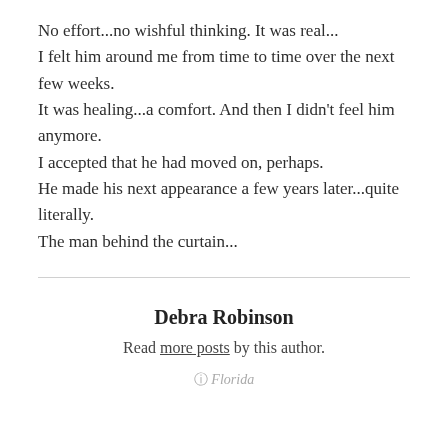No effort...no wishful thinking. It was real...
I felt him around me from time to time over the next few weeks.
It was healing...a comfort. And then I didn't feel him anymore.
I accepted that he had moved on, perhaps.
He made his next appearance a few years later...quite literally.
The man behind the curtain...
Debra Robinson
Read more posts by this author.
Florida